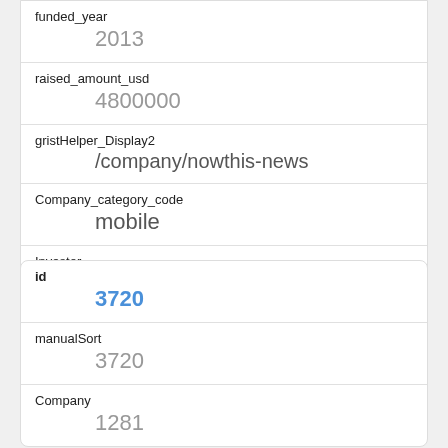funded_year
2013
raised_amount_usd
4800000
gristHelper_Display2
/company/nowthis-news
Company_category_code
mobile
Investor
SoftBank Capital
https://www.crunchbase.com/financial-organization/softbank-capital
id
3720
manualSort
3720
Company
1281